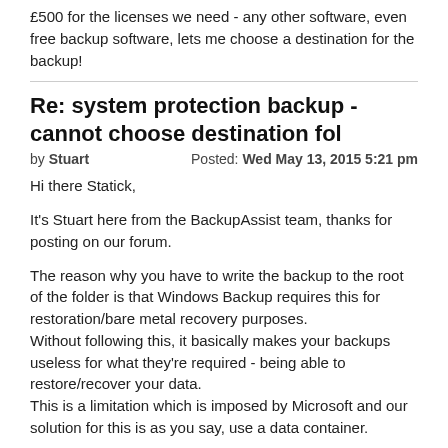£500 for the licenses we need - any other software, even free backup software, lets me choose a destination for the backup!
Re: system protection backup - cannot choose destination fol
by Stuart
Posted: Wed May 13, 2015 5:21 pm
Hi there Statick,

It's Stuart here from the BackupAssist team, thanks for posting on our forum.

The reason why you have to write the backup to the root of the folder is that Windows Backup requires this for restoration/bare metal recovery purposes.
Without following this, it basically makes your backups useless for what they're required - being able to restore/recover your data.
This is a limitation which is imposed by Microsoft and our solution for this is as you say, use a data container.

What exactly is your backup location? Is it a mapped network drive?